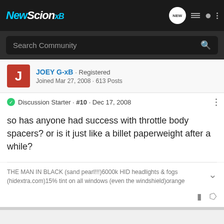NewScion xB
Search Community
JOEY G-xB · Registered
Joined Mar 27, 2008 · 613 Posts
Discussion Starter · #10 · Dec 17, 2008
so has anyone had success with throttle body spacers? or is it just like a billet paperweight after a while?
THE MAN IN BLACK (sand pearl!!!)6000k HID headlights & fogs (hidextra.com)15% tint on all windows (even the windshield)orange